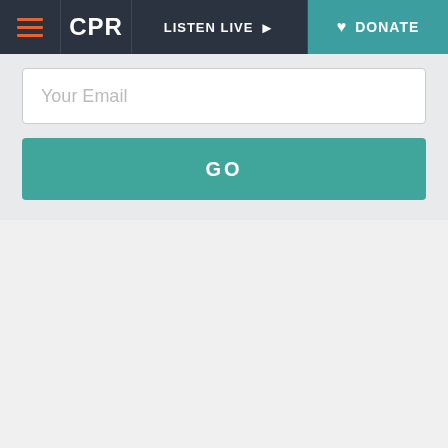CPR | LISTEN LIVE | DONATE
Your Email
GO
[Figure (infographic): Turn the Page with Colorado Matters advertisement banner. Book icon on left. Text: 'Turn the Page WITH COLORADO MATTERS'. Date: September 6 | 6:30 p.m. Description: Join us in Grand Junction for a chat with author Craig Childs. Orange CTA button at bottom.]